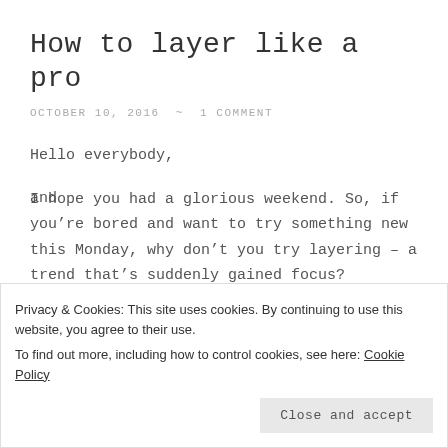How to layer like a pro
OCTOBER 10, 2016 ~ 1 COMMENT
Hello everybody,
I hope you had a glorious weekend. So, if you’re bored and want to try something new this Monday, why don’t you try layering – a trend that’s suddenly gained focus?
To layer, no need to buy anything. Walk into your closet and...
Privacy & Cookies: This site uses cookies. By continuing to use this website, you agree to their use.
To find out more, including how to control cookies, see here: Cookie Policy
Close and accept
following: